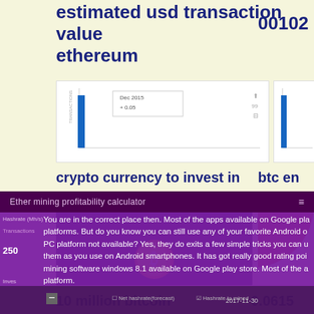estimated usd transaction value ethereum
00102
[Figure (screenshot): Screenshot of a line/bar chart showing Dec 2015 data point at +0.05]
[Figure (screenshot): Partial screenshot of a chart, right side cropped]
crypto currency to invest in
btc en
[Figure (screenshot): Dark background image with Bitcoin coin logo (B symbol)]
[Figure (screenshot): Red pie/donut chart partial view]
10 million bitcoin
0.0615
[Figure (screenshot): Ether mining profitability calculator app screenshot with purple overlay, showing hashrate and transactions fields. Text reads: You are in the correct place then. Most of the apps available on Google play platforms. But do you know you can still use any of your favorite Android o PC platform not available? Yes, they do exits a few simple tricks you can u them as you use on Android smartphones. It has got really good rating poi mining software windows 8.1 available on Google play store. Most of the a platform.]